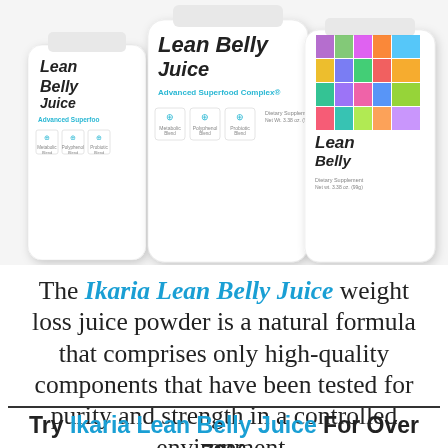[Figure (photo): Three white supplement bottles labeled 'Lean Belly Juice' with colorful geometric mosaic design on the right bottle, arranged with center bottle in front]
The Ikaria Lean Belly Juice weight loss juice powder is a natural formula that comprises only high-quality components that have been tested for purity and strength in a controlled environment.
Try Ikaria Lean Belly Juice For Over 79% OFF Today!